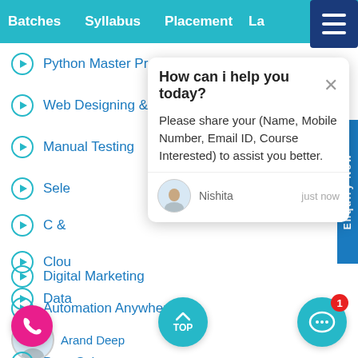Batches   Syllabus   Placement   La...
Python Master Program
Web Designing & Development
Manual Testing
Sele...
C & ...
Clou...
Data...
Pr... / Arand Deep
Data Science
Digital Marketing
Automation Anywhere
How can i help you today?

Please share your (Name, Mobile Number, Email ID, Course Interested) to assist you better.

Nishita   just now